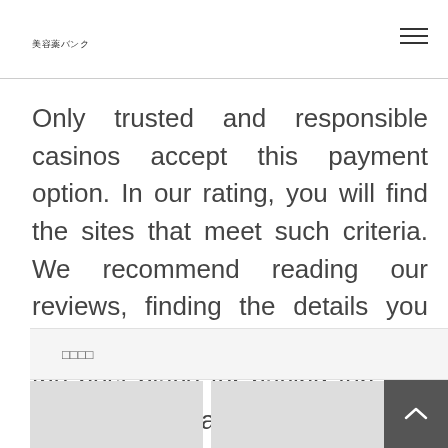美容薬バンク
Only trusted and responsible casinos accept this payment option. In our rating, you will find the sites that meet such criteria. We recommend reading our reviews, finding the details you are interested in, and choosing the best place for having fun and getting some cash.
□□□□